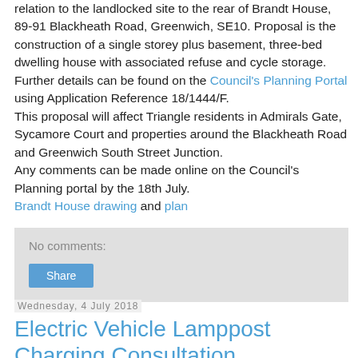relation to the landlocked site to the rear of Brandt House, 89-91 Blackheath Road, Greenwich, SE10. Proposal is the construction of a single storey plus basement, three-bed dwelling house with associated refuse and cycle storage. Further details can be found on the Council's Planning Portal using Application Reference 18/1444/F.
This proposal will affect Triangle residents in Admirals Gate, Sycamore Court and properties around the Blackheath Road and Greenwich South Street Junction.
Any comments can be made online on the Council's Planning portal by the 18th July.
Brandt House drawing and plan
No comments:
Share
Wednesday, 4 July 2018
Electric Vehicle Lamppost Charging Consultation